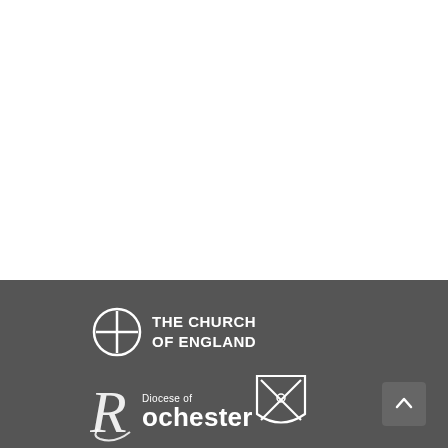[Figure (logo): The Church of England logo with cross icon and text 'THE CHURCH OF ENGLAND']
[Figure (logo): Diocese of Rochester logo with stylised R and shield emblem]